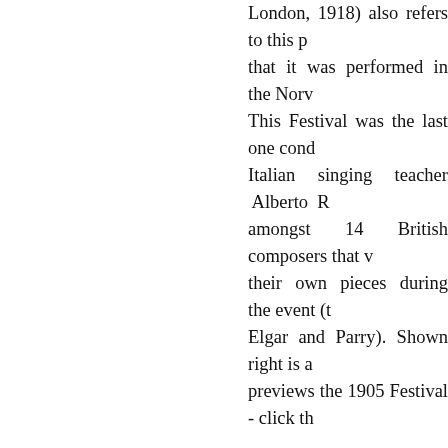London, 1918) also refers to this p that it was performed in the Norv This Festival was the last one cond Italian singing teacher Alberto R amongst 14 British composers that their own pieces during the event (t Elgar and Parry). Shown right is a previews the 1905 Festival - click th
[Figure (illustration): Portrait illustration of Sir Frederick Bridge, a man in formal Victorian attire (dark suit), holding a red book, wearing glasses, shown full-length in a caricature/cartoon style. Framed with a thin yellow-gold border.]
Sir Frederick Bridge at Westminster Abb sobriquet 'Westmins 1904 cartoon of that Bridge was a very Musicians' Company October 1888) that a